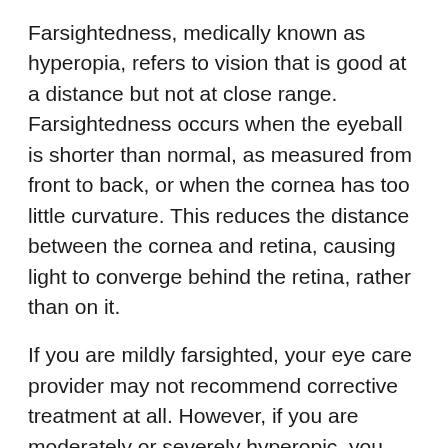Farsightedness, medically known as hyperopia, refers to vision that is good at a distance but not at close range. Farsightedness occurs when the eyeball is shorter than normal, as measured from front to back, or when the cornea has too little curvature. This reduces the distance between the cornea and retina, causing light to converge behind the retina, rather than on it.
If you are mildly farsighted, your eye care provider may not recommend corrective treatment at all. However, if you are moderately or severely hyperopic, you may have several treatment options available, including eyeglasses, contacts, LASIK and photorefractive keratectomy (PRK). Your eye care provider at Eye Care, Inc. will help you determine the best treatment option for you.
Myopia (Nearsightedness)
Nearsightedness, medically known as myopia, refers to